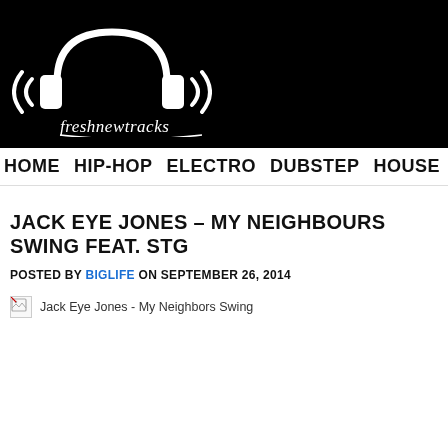[Figure (logo): FreshNewTracks logo — white headphones with sound waves on black background, with cursive 'freshnewtracks' text below]
HOME  HIP-HOP  ELECTRO  DUBSTEP  HOUSE  MA
JACK EYE JONES – MY NEIGHBOURS SWING FEAT. STG
POSTED BY BIGLIFE ON SEPTEMBER 26, 2014
[Figure (photo): Broken image placeholder with caption: Jack Eye Jones - My Neighbors Swing]